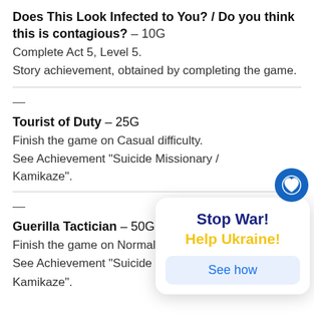Does This Look Infected to You? / Do you think this is contagious? – 10G
Complete Act 5, Level 5.
Story achievement, obtained by completing the game.
Tourist of Duty – 25G
Finish the game on Casual difficulty.
See Achievement "Suicide Missionary / Kamikaze".
Guerilla Tactician – 50G
Finish the game on Normal diffi...
See Achievement "Suicide Miss... / Kamikaze".
[Figure (infographic): Stop War! Help Ukraine! popup overlay with a blue circular heart icon button and a 'See how' button]